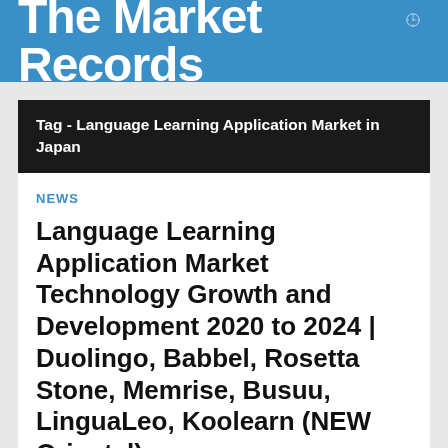The Market Records
Tag - Language Learning Application Market in Japan
NEWS
Language Learning Application Market Technology Growth and Development 2020 to 2024 | Duolingo, Babbel, Rosetta Stone, Memrise, Busuu, LinguaLeo, Koolearn (NEW Oriental)
November 23, 2020